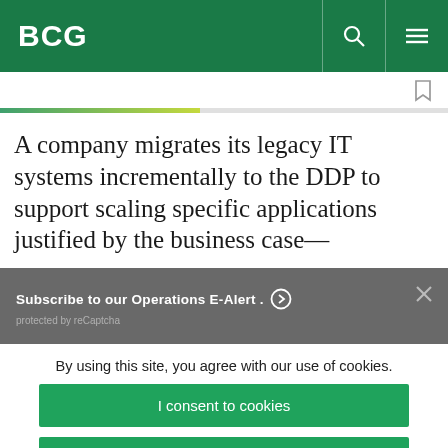BCG
A company migrates its legacy IT systems incrementally to the DDP to support scaling specific applications justified by the business case—
Subscribe to our Operations E-Alert.
protected by reCaptcha
By using this site, you agree with our use of cookies.
I consent to cookies
Want to know more?
Read our Cookie Policy